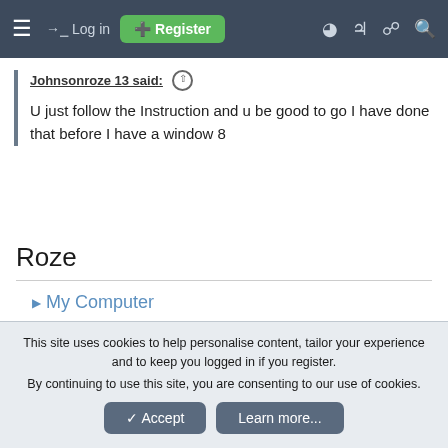Log in | Register
Johnsonroze 13 said: ↑
U just follow the Instruction and u be good to go I have done that before I have a window 8
Roze
▶ My Computer
robinb9
I am Woman! Hear Me Roar! VIP Member
This site uses cookies to help personalise content, tailor your experience and to keep you logged in if you register.
By continuing to use this site, you are consenting to our use of cookies.
Accept  Learn more...